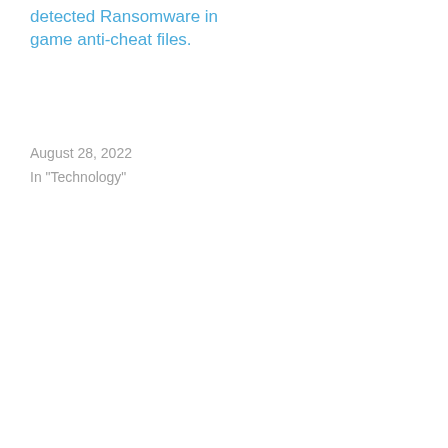detected Ransomware in game anti-cheat files.
August 28, 2022
In "Technology"